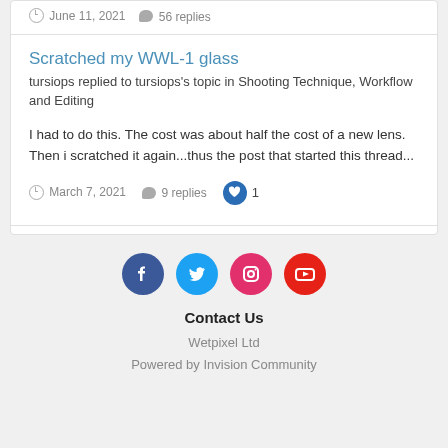June 11, 2021   56 replies
Scratched my WWL-1 glass
tursiops replied to tursiops's topic in Shooting Technique, Workflow and Editing
I had to do this. The cost was about half the cost of a new lens. Then i scratched it again...thus the post that started this thread...
March 7, 2021   9 replies   1
[Figure (illustration): Social media icons: Facebook, Twitter, Instagram, YouTube]
Contact Us
Wetpixel Ltd
Powered by Invision Community